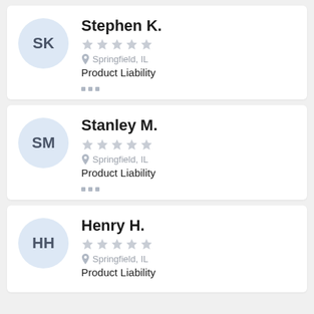Stephen K. — Springfield, IL — Product Liability
Stanley M. — Springfield, IL — Product Liability
Henry H. — Springfield, IL — Product Liability